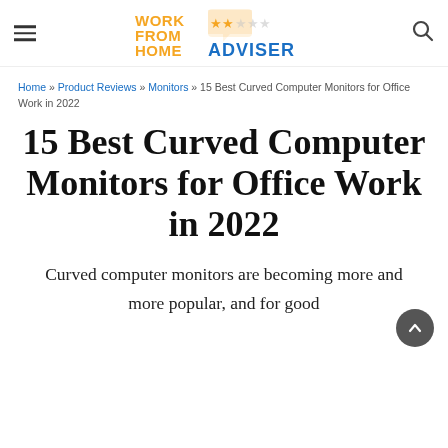Work From Home Adviser
Home » Product Reviews » Monitors » 15 Best Curved Computer Monitors for Office Work in 2022
15 Best Curved Computer Monitors for Office Work in 2022
Curved computer monitors are becoming more and more popular, and for good reason. They offer an immersive…